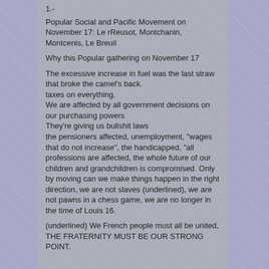1.-
Popular Social and Pacific Movement on November 17: Le rReusot, Montchanin, Montcenis, Le Breuil
Why this Popular gathering on November 17
The excessive increase in fuel was the last straw that broke the camel's back.
taxes on everything.
We are affected by all government decisions on our purchasing powers
They're giving us bullshit laws
the pensioners affected, unemployment, "wages that do not increase", the handicapped, "all professions are affected, the whole future of our children and grandchildren is compromised. Only by moving can we make things happen in the right direction, we are not slaves (underlined), we are not pawns in a chess game, we are no longer in the time of Louis 16.
(underlined) We French people must all be united, THE FRATERNITY MUST BE OUR STRONG POINT.